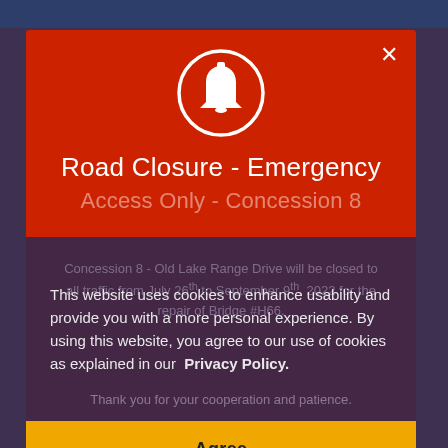[Figure (screenshot): Background webpage with dark blue/purple tones showing a road closure notice partially visible underneath overlays]
Road Closure - Emergency
Access Only - Concession 8
Concession 8 - Old Lake Range Drive will be closed to all traffic from July 26th to September 9th, 2022 for the repair of Bridge #H66.
Thank you for your cooperation and patience.
This website uses cookies to enhance usability and provide you with a more personal experience. By using this website, you agree to our use of cookies as explained in our Privacy Policy.
Agree